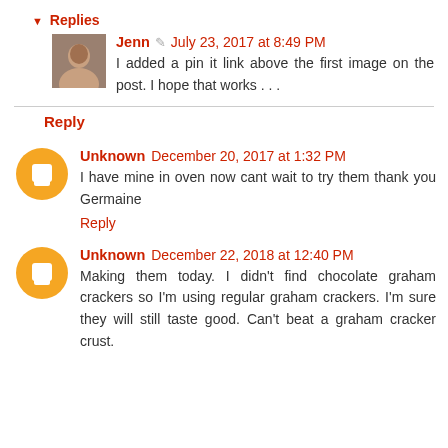▾ Replies
Jenn  July 23, 2017 at 8:49 PM
I added a pin it link above the first image on the post. I hope that works . . .
Reply
Unknown  December 20, 2017 at 1:32 PM
I have mine in oven now cant wait to try them thank you Germaine
Reply
Unknown  December 22, 2018 at 12:40 PM
Making them today. I didn't find chocolate graham crackers so I'm using regular graham crackers. I'm sure they will still taste good. Can't beat a graham cracker crust.